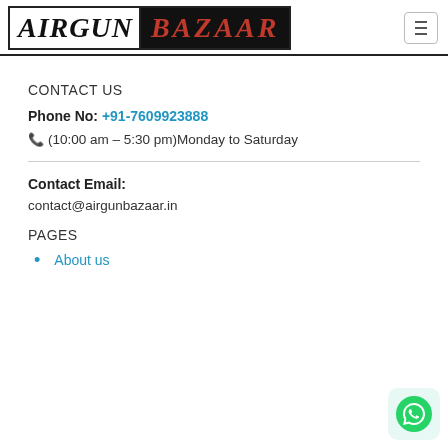[Figure (logo): Airgun Bazaar logo with AIRGUN in black italic serif on white and BAZAAR in red italic serif on black background, inside a border]
CONTACT US
Phone No: +91-7609923888
(10:00 am – 5:30 pm)Monday to Saturday
Contact Email:
contact@airgunbazaar.in
PAGES
About us